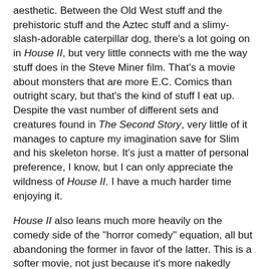aesthetic. Between the Old West stuff and the prehistoric stuff and the Aztec stuff and a slimy-slash-adorable caterpillar dog, there's a lot going on in House II, but very little connects with me the way stuff does in the Steve Miner film. That's a movie about monsters that are more E.C. Comics than outright scary, but that's the kind of stuff I eat up. Despite the vast number of different sets and creatures found in The Second Story, very little of it manages to capture my imagination save for Slim and his skeleton horse. It's just a matter of personal preference, I know, but I can only appreciate the wildness of House II. I have a much harder time enjoying it.
House II also leans much more heavily on the comedy side of the "horror comedy" equation, all but abandoning the former in favor of the latter. This is a softer movie, not just because it's more nakedly sentimental in terms of the relationship between Ayre Gross and Gramps, but also in the PG-13 rating and a reimagining of what the house now represents. Here it's more about adventure (there's even a scene in which John Ratzenberger shows up as an electrician and turns out to be a swashbuckling adventurer